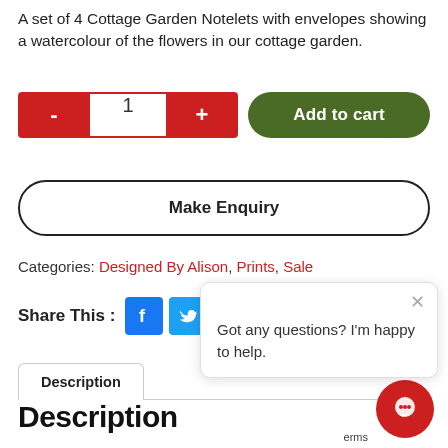A set of 4 Cottage Garden Notelets with envelopes showing a watercolour of the flowers in our cottage garden.
[Figure (screenshot): Add to cart control with quantity selector (minus, 1, plus buttons in red) and green rounded 'Add to cart' button]
[Figure (screenshot): Make Enquiry button with black rounded border]
Categories: Designed By Alison, Prints, Sale
Share This :
[Figure (screenshot): Facebook and Twitter share icons, plus other social share icon bars]
[Figure (screenshot): Chat popup with avatar saying 'Got any questions? I'm happy to help.']
Description
Description
[Figure (screenshot): Red circular chat widget button in bottom right corner]